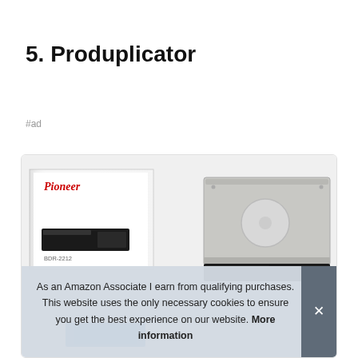5. Produplicator
#ad
[Figure (photo): Product card showing a Pioneer BDR-2212 Blu-ray/optical disc drive with its retail box on the left and the bare drive unit on the right, against a light grey background.]
As an Amazon Associate I earn from qualifying purchases. This website uses the only necessary cookies to ensure you get the best experience on our website. More information